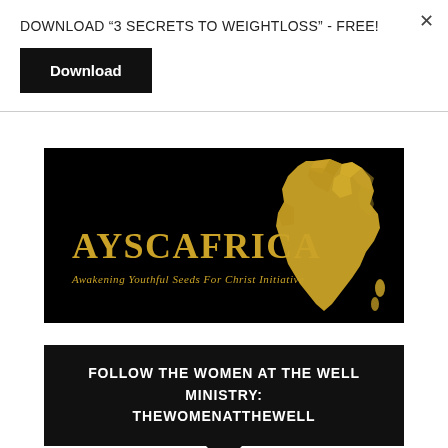DOWNLOAD “3 SECRETS TO WEIGHTLOSS” - FREE!
Download
[Figure (logo): AYSCAFRICA logo on black background with gold Africa continent map silhouette and text 'AYSCAFRICA - Awakening Youthful Seeds For Christ Initiative']
FOLLOW THE WOMEN AT THE WELL MINISTRY: THEWOMENATTHEWELL
Love Relationship and Marriage